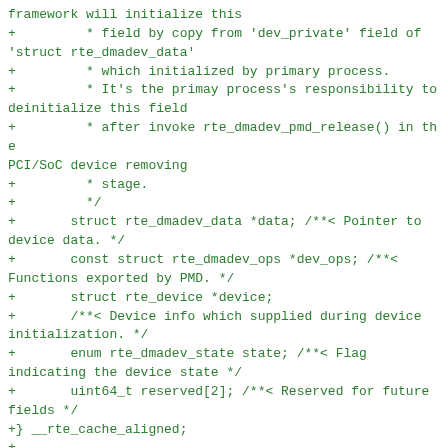framework will initialize this
+         * field by copy from 'dev_private' field of 'struct rte_dmadev_data'
+         * which initialized by primary process.
+         * It's the primay process's responsibility to deinitialize this field
+         * after invoke rte_dmadev_pmd_release() in the PCI/SoC device removing
+         * stage.
+         */
+       struct rte_dmadev_data *data; /**< Pointer to device data. */
+       const struct rte_dmadev_ops *dev_ops; /**< Functions exported by PMD. */
+       struct rte_device *device;
+       /**< Device info which supplied during device initialization. */
+       enum rte_dmadev_state state; /**< Flag indicating the device state */
+       uint64_t reserved[2]; /**< Reserved for future fields */
+} __rte_cache_aligned;
+
+extern struct rte_dmadev rte_dmadevices[];
+
+#endif /* _RTE_DMADEV_CORE_H_ */
diff --git a/lib/dmadev/rte_dmadev_pmd.h b/lib/dmadev/rte_dmadev_pmd.h
new file mode 100644
index 0000000..45141f9